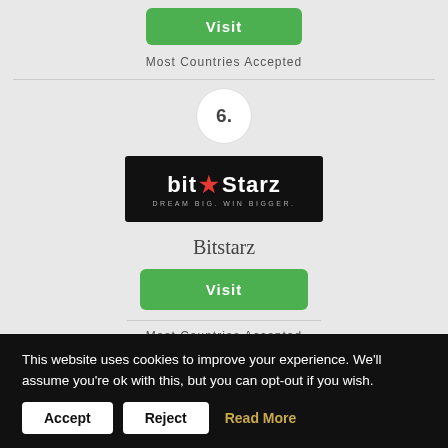Visit
Most Countries Accepted
6.
[Figure (logo): BitStarz casino logo — dark background with 'bit' in white, red star, 'Starz' in white, tagline 'DREAM BIG. WIN BIGGER.']
Bitstarz
Visit
Most Countries Accepted
This website uses cookies to improve your experience. We'll assume you're ok with this, but you can opt-out if you wish.
Accept
Reject
Read More